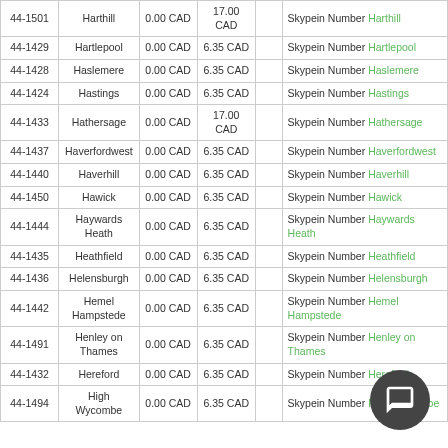|  |  | 0.00 CAD | 0.00 CAD |  | Skypein Number |
| --- | --- | --- | --- | --- | --- |
| 44-1501 | Harthill | 0.00 CAD | 17.00 CAD |  | Skypein Number Harthill |
| 44-1429 | Hartlepool | 0.00 CAD | 6.35 CAD |  | Skypein Number Hartlepool |
| 44-1428 | Haslemere | 0.00 CAD | 6.35 CAD |  | Skypein Number Haslemere |
| 44-1424 | Hastings | 0.00 CAD | 6.35 CAD |  | Skypein Number Hastings |
| 44-1433 | Hathersage | 0.00 CAD | 17.00 CAD |  | Skypein Number Hathersage |
| 44-1437 | Haverfordwest | 0.00 CAD | 6.35 CAD |  | Skypein Number Haverfordwest |
| 44-1440 | Haverhill | 0.00 CAD | 6.35 CAD |  | Skypein Number Haverhill |
| 44-1450 | Hawick | 0.00 CAD | 6.35 CAD |  | Skypein Number Hawick |
| 44-1444 | Haywards Heath | 0.00 CAD | 6.35 CAD |  | Skypein Number Haywards Heath |
| 44-1435 | Heathfield | 0.00 CAD | 6.35 CAD |  | Skypein Number Heathfield |
| 44-1436 | Helensburgh | 0.00 CAD | 6.35 CAD |  | Skypein Number Helensburgh |
| 44-1442 | Hemel Hampstede | 0.00 CAD | 6.35 CAD |  | Skypein Number Hemel Hampstede |
| 44-1491 | Henley on Thames | 0.00 CAD | 6.35 CAD |  | Skypein Number Henley on Thames |
| 44-1432 | Hereford | 0.00 CAD | 6.35 CAD |  | Skypein Number Hereford |
| 44-1494 | High Wycombe | 0.00 CAD | 6.35 CAD |  | Skypein Number High Wycombe |